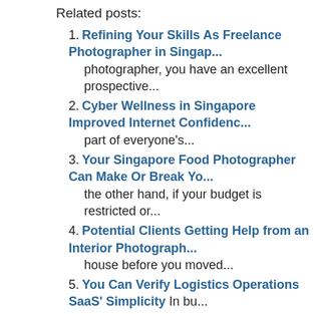Related posts:
1. Refining Your Skills As Freelance Photographer in Singap... photographer, you have an excellent prospective...
2. Cyber Wellness in Singapore Improved Internet Confidenc... part of everyone's...
3. Your Singapore Food Photographer Can Make Or Break Yo... the other hand, if your budget is restricted or...
4. Potential Clients Getting Help from an Interior Photograph... house before you moved...
5. You Can Verify Logistics Operations SaaS' Simplicity In bu... deal of different...
PREVIOUS POST: Enjoy More Family Dinners with Dining Set in S...
NEXT POST: Safe Deposit Boxes are Affordable Security for Your...